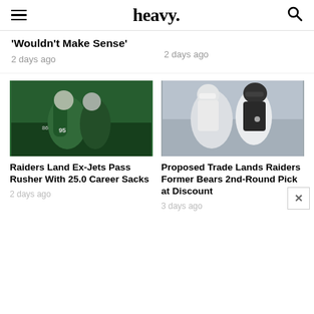heavy.
'Wouldn't Make Sense'
2 days ago
2 days ago
[Figure (photo): New York Jets players in green uniforms celebrating on field]
Raiders Land Ex-Jets Pass Rusher With 25.0 Career Sacks
2 days ago
[Figure (photo): Two coaches in white and black jerseys smiling and greeting each other]
Proposed Trade Lands Raiders Former Bears 2nd-Round Pick at Discount
3 days ago